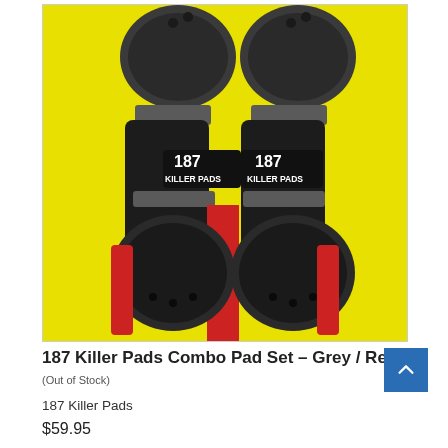[Figure (photo): 187 Killer Pads Combo Pad Set in Grey and Red colorway. Shows two knee pads and two elbow pads with black hard caps, grey padding, red fabric backing, and black straps with '187 Killer Pads' logo patches on a yellow background.]
187 Killer Pads Combo Pad Set – Grey / Red
(Out of Stock)
187 Killer Pads
$59.95